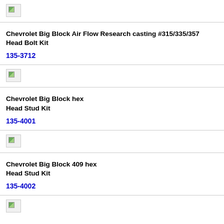[Figure (photo): Broken image placeholder for product photo]
Chevrolet Big Block Air Flow Research casting #315/335/357 Head Bolt Kit
135-3712
[Figure (photo): Broken image placeholder for product photo]
Chevrolet Big Block hex Head Stud Kit
135-4001
[Figure (photo): Broken image placeholder for product photo]
Chevrolet Big Block 409 hex Head Stud Kit
135-4002
[Figure (photo): Broken image placeholder for product photo]